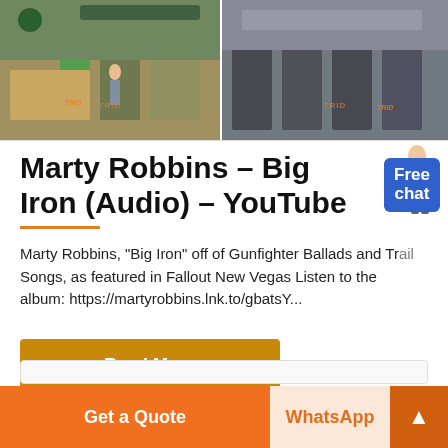[Figure (photo): Two industrial photos side by side showing mining or processing equipment with workers, branded with logo watermarks]
Marty Robbins – Big Iron (Audio) – YouTube
Marty Robbins, "Big Iron" off of Gunfighter Ballads and Trail Songs, as featured in Fallout New Vegas Listen to the album: https://martyrobbins.lnk.to/gbatsY...
Read More
Get a Quote | WhatsApp | ▲